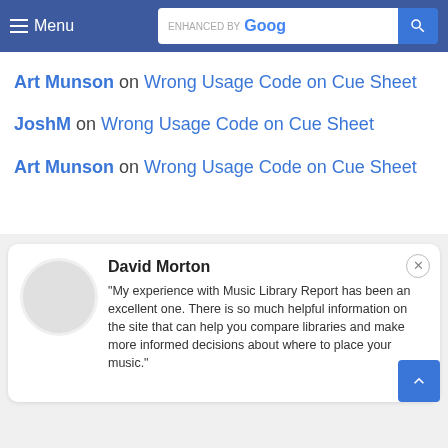Menu | ENHANCED BY Google [search]
Art Munson on Wrong Usage Code on Cue Sheet
JoshM on Wrong Usage Code on Cue Sheet
Art Munson on Wrong Usage Code on Cue Sheet
"My experience with Music Library Report has been an excellent one. There is so much helpful information on the site that can help you compare libraries and make more informed decisions about where to place your music."
David Morton